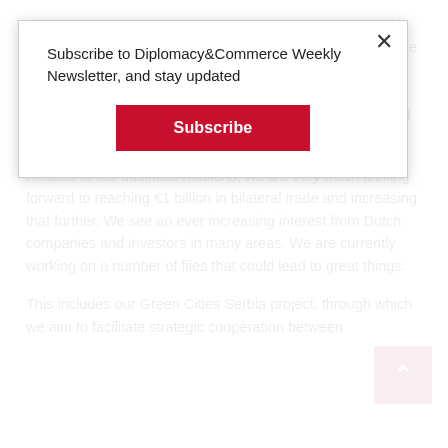priority number one. That's why we have been working with government and civil society for years to help bring about the necessary changes and reforms, particularly in the area of rule of law, as I already mentioned. That process is very specific to the EU. And it comes with its own challenges and opportunities.
Related to our business relations, we are very much looking forward to reaching €1 billion in bilateral trade and increasing that further. We see an ever increasing interest from Dutch companies and investors in many areas. We are currently working on a number of files that could lead to great things.
This includes our Green Cities Serbia project, through which we aim to facilitate strategic cooperation between
Subscribe to Diplomacy&Commerce Weekly Newsletter, and stay updated
Subscribe